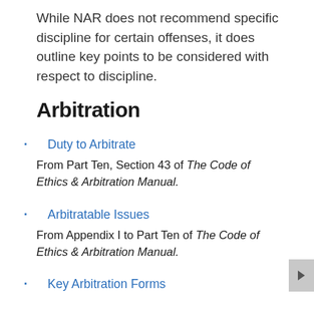While NAR does not recommend specific discipline for certain offenses, it does outline key points to be considered with respect to discipline.
Arbitration
Duty to Arbitrate
From Part Ten, Section 43 of The Code of Ethics & Arbitration Manual.
Arbitratable Issues
From Appendix I to Part Ten of The Code of Ethics & Arbitration Manual.
Key Arbitration Forms